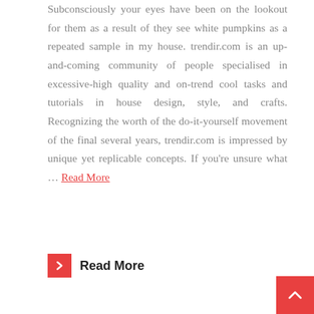Subconsciously your eyes have been on the lookout for them as a result of they see white pumpkins as a repeated sample in my house. trendir.com is an up-and-coming community of people specialised in excessive-high quality and on-trend cool tasks and tutorials in house design, style, and crafts. Recognizing the worth of the do-it-yourself movement of the final several years, trendir.com is impressed by unique yet replicable concepts. If you're unsure what … Read More
Read More